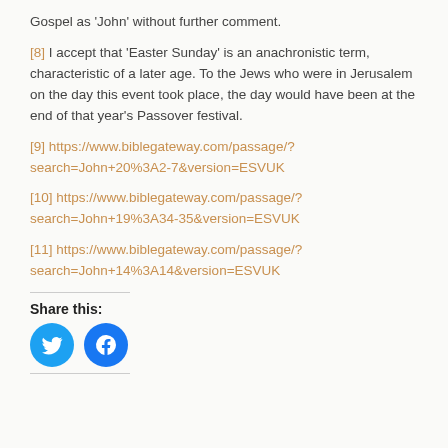Gospel as 'John' without further comment.
[8] I accept that 'Easter Sunday' is an anachronistic term, characteristic of a later age. To the Jews who were in Jerusalem on the day this event took place, the day would have been at the end of that year's Passover festival.
[9] https://www.biblegateway.com/passage/?search=John+20%3A2-7&version=ESVUK
[10] https://www.biblegateway.com/passage/?search=John+19%3A34-35&version=ESVUK
[11] https://www.biblegateway.com/passage/?search=John+14%3A14&version=ESVUK
Share this:
[Figure (other): Twitter and Facebook social share icon buttons]